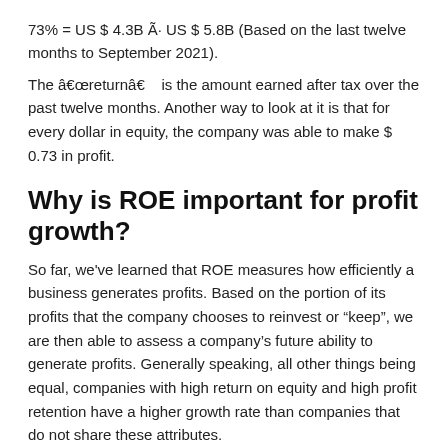73% = US $ 4.3B Ã· US $ 5.8B (Based on the last twelve months to September 2021).
The â€œreturnâ€ is the amount earned after tax over the past twelve months. Another way to look at it is that for every dollar in equity, the company was able to make $ 0.73 in profit.
Why is ROE important for profit growth?
So far, we've learned that ROE measures how efficiently a business generates profits. Based on the portion of its profits that the company chooses to reinvest or "keep", we are then able to assess a company's future ability to generate profits. Generally speaking, all other things being equal, companies with high return on equity and high profit retention have a higher growth rate than companies that do not share these attributes.
Lam Research earnings growth and 73% ROE